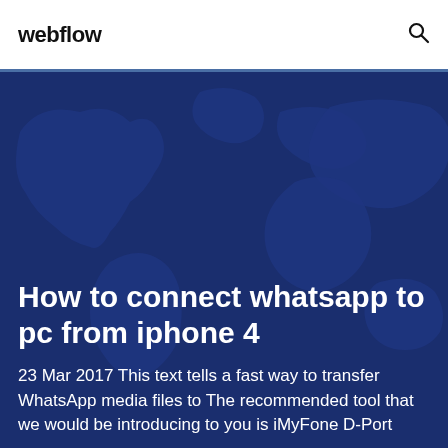webflow
[Figure (illustration): Dark blue world map silhouette on navy blue background used as hero image background]
How to connect whatsapp to pc from iphone 4
23 Mar 2017 This text tells a fast way to transfer WhatsApp media files to The recommended tool that we would be introducing to you is iMyFone D-Port